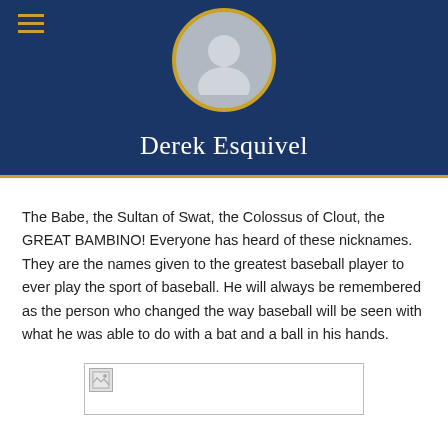[Figure (illustration): Dark navy blue header with hamburger menu icon (three gold horizontal lines) top left, and a circular avatar placeholder with gold border centered at top]
Derek Esquivel
The Babe, the Sultan of Swat, the Colossus of Clout, the GREAT BAMBINO! Everyone has heard of these nicknames. They are the names given to the greatest baseball player to ever play the sport of baseball. He will always be remembered as the person who changed the way baseball will be seen with what he was able to do with a bat and a ball in his hands.
[Figure (photo): Broken image placeholder at bottom of page]